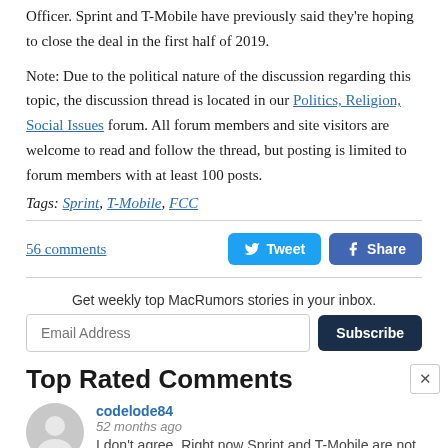Officer. Sprint and T-Mobile have previously said they're hoping to close the deal in the first half of 2019.
Note: Due to the political nature of the discussion regarding this topic, the discussion thread is located in our Politics, Religion, Social Issues forum. All forum members and site visitors are welcome to read and follow the thread, but posting is limited to forum members with at least 100 posts.
Tags: Sprint, T-Mobile, FCC
56 comments
Get weekly top MacRumors stories in your inbox.
Top Rated Comments
codelode84
52 months ago
I don't agree. Right now Sprint and T-Mobile are not in the